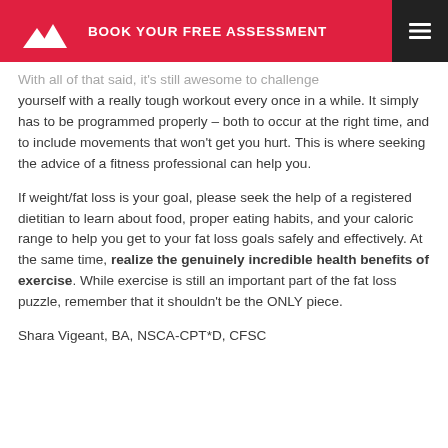BOOK YOUR FREE ASSESSMENT
With all of that said, it's still awesome to challenge yourself with a really tough workout every once in a while. It simply has to be programmed properly – both to occur at the right time, and to include movements that won't get you hurt. This is where seeking the advice of a fitness professional can help you.
If weight/fat loss is your goal, please seek the help of a registered dietitian to learn about food, proper eating habits, and your caloric range to help you get to your fat loss goals safely and effectively. At the same time, realize the genuinely incredible health benefits of exercise. While exercise is still an important part of the fat loss puzzle, remember that it shouldn't be the ONLY piece.
Shara Vigeant, BA, NSCA-CPT*D, CFSC